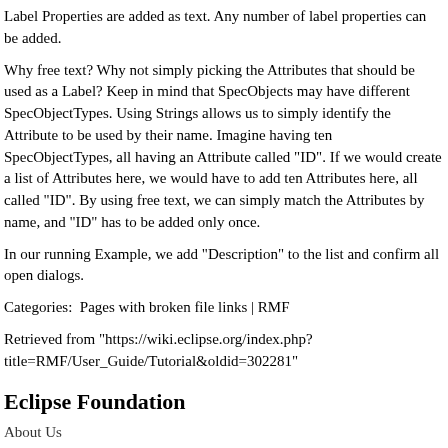Label Properties are added as text. Any number of label properties can be added.
Why free text? Why not simply picking the Attributes that should be used as a Label? Keep in mind that SpecObjects may have different SpecObjectTypes. Using Strings allows us to simply identify the Attribute to be used by their name. Imagine having ten SpecObjectTypes, all having an Attribute called "ID". If we would create a list of Attributes here, we would have to add ten Attributes here, all called "ID". By using free text, we can simply match the Attributes by name, and "ID" has to be added only once.
In our running Example, we add "Description" to the list and confirm all open dialogs.
Categories:  Pages with broken file links | RMF
Retrieved from "https://wiki.eclipse.org/index.php?title=RMF/User_Guide/Tutorial&oldid=302281"
Eclipse Foundation
About Us